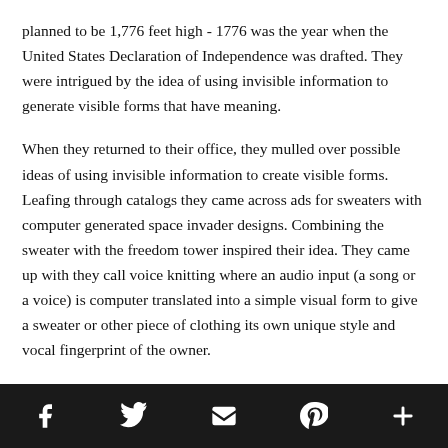planned to be 1,776 feet high - 1776 was the year when the United States Declaration of Independence was drafted. They were intrigued by the idea of using invisible information to generate visible forms that have meaning.
When they returned to their office, they mulled over possible ideas of using invisible information to create visible forms. Leafing through catalogs they came across ads for sweaters with computer generated space invader designs. Combining the sweater with the freedom tower inspired their idea. They came up with they call voice knitting where an audio input (a song or a voice) is computer translated into a simple visual form to give a sweater or other piece of clothing its own unique style and vocal fingerprint of the owner.
[social icons: Facebook, Twitter, Email, Pinterest, More]